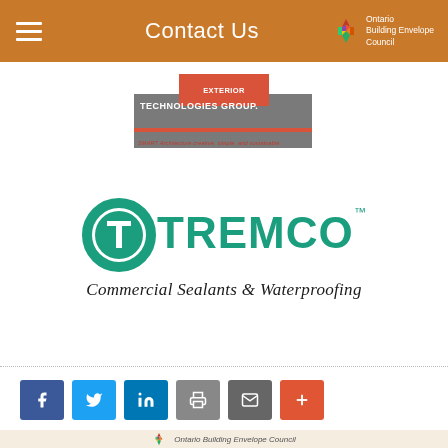Contact Us
[Figure (logo): Exterior Technologies Group logo — orange and gray rectangular logo with tagline 'SMART Architecture creative, simple, and sustainable.']
[Figure (logo): Tremco logo — teal circular T symbol with TREMCO text and trademark. Subtitle: Commercial Sealants & Waterproofing]
[Figure (infographic): Social sharing buttons row: Facebook (blue), Twitter (blue), LinkedIn (blue), Pinterest (gray), Email (gray), Plus/More (red-orange)]
[Figure (logo): Ontario Building Envelope Council logo with colorful geometric snowflake pattern. Tagline: Better Envelope. Better Building. Social media icons below.]